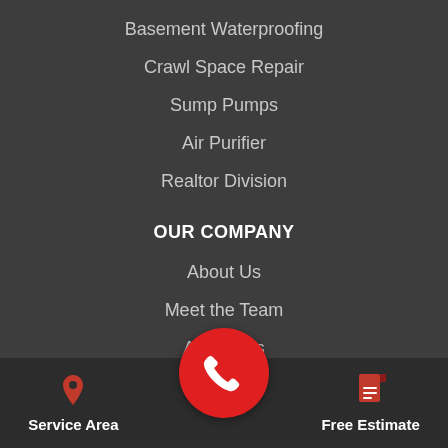Basement Waterproofing
Crawl Space Repair
Sump Pumps
Air Purifier
Realtor Division
OUR COMPANY
About Us
Meet the Team
Affiliations
Job Opportunities
Privacy Policy
Service Area
Free Estimate